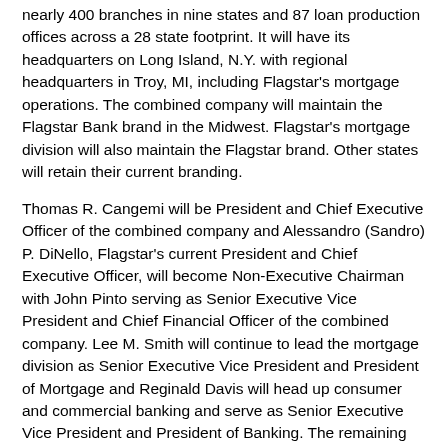nearly 400 branches in nine states and 87 loan production offices across a 28 state footprint. It will have its headquarters on Long Island, N.Y. with regional headquarters in Troy, MI, including Flagstar's mortgage operations. The combined company will maintain the Flagstar Bank brand in the Midwest. Flagstar's mortgage division will also maintain the Flagstar brand. Other states will retain their current branding.
Thomas R. Cangemi will be President and Chief Executive Officer of the combined company and Alessandro (Sandro) P. DiNello, Flagstar's current President and Chief Executive Officer, will become Non-Executive Chairman with John Pinto serving as Senior Executive Vice President and Chief Financial Officer of the combined company. Lee M. Smith will continue to lead the mortgage division as Senior Executive Vice President and President of Mortgage and Reginald Davis will head up consumer and commercial banking and serve as Senior Executive Vice President and President of Banking. The remaining key roles will combine the best talent from both companies. The Board of Directors will be comprised of 12 directors – eight from New York Community and four from Flagstar.
Commenting on the transaction, Thomas R. Cangemi stated, "When I was appointed President and CEO of New York